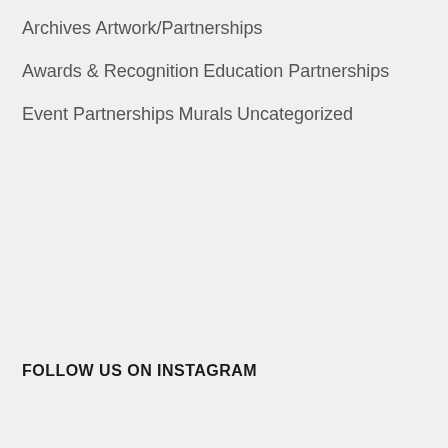Archives
Artwork/Partnerships
Awards & Recognition
Education Partnerships
Event Partnerships
Murals
Uncategorized
FOLLOW US ON INSTAGRAM